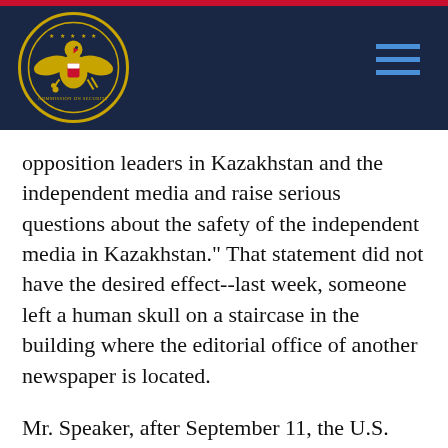Commission on Security and Cooperation in Europe header with seal and navigation
opposition leaders in Kazakhstan and the independent media and raise serious questions about the safety of the independent media in Kazakhstan." That statement did not have the desired effect--last week, someone left a human skull on a staircase in the building where the editorial office of another newspaper is located.
Mr. Speaker, after September 11, the U.S. Government moved to consolidate relationships with Central Asian states, seeking cooperation in the battle with terrorism. But Washington also made plain that we expected to see some reform in these entrenched dictatorships, or we would all have to deal with consequences in the future. Nursultan Nazarbaev has ignored this call. Increasingly nervous about revelations of high-level corruption, he is obviously